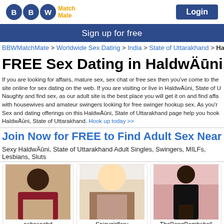[Figure (logo): BBW Match Mate logo with two blue circles containing B letters and orange Match Mate text]
Login
Sign up for free
BBWMatchMate > Worldwide Sex Dating > India > State of Uttarakhand > HaldwÄ«ni
FREE Sex Dating in HaldwÄ«ni,
If you are looking for affairs, mature sex, sex chat or free sex then you've come to the site online for sex dating on the web. If you are visiting or live in HaldwÄ«ni, State of U Naughty and find sex, as our adult site is the best place you will get it on and find affa with housewives and amateur swingers looking for free swinger hookup sex. As you'r Sex and dating offerings on this HaldwÄ«ni, State of Uttarakhand page help you hook HaldwÄ«ni, State of Uttarakhand. Hook up today >>
Join Now for FREE to Find Adult Sex Near Ha
Sexy HaldwÄ«ni, State of Uttarakhand Adult Singles, Swingers, MILFs, Lesbians, Sluts
[Figure (photo): Profile photo of user ashasachd]
[Figure (photo): Profile photo of user Spicygirlforu]
[Figure (photo): Profile photo of user TheBongBombshell]